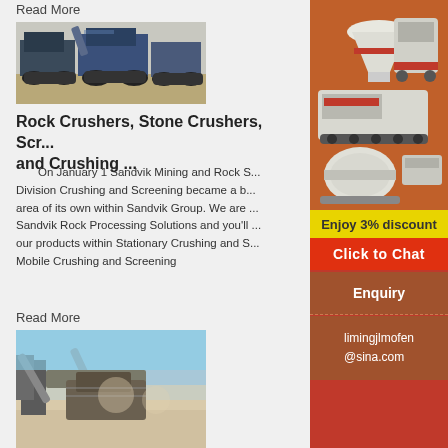Read More
[Figure (photo): Mobile rock crusher/screening machines on tracked chassis parked on gravel ground]
Rock Crushers, Stone Crushers, Scr... and Crushing ...
On January 1 Sandvik Mining and Rock S... Division Crushing and Screening became a b... area of its own within Sandvik Group. We are ... Sandvik Rock Processing Solutions and you'll ... our products within Stationary Crushing and S... Mobile Crushing and Screening
Read More
[Figure (photo): Stone crushing plant with conveyor belts and equipment against blue sky]
[Figure (photo): Sidebar advertisement showing multiple crushing and screening machines on orange background, with discount and chat offer]
Enjoy 3% discount
Click to Chat
Enquiry
limingjlmofen @sina.com